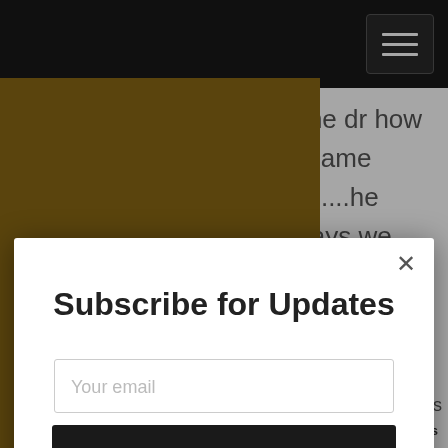and when i ask the dr how will i know if the same thign will happen.....he look at me and says we don't until some thing
[Figure (screenshot): Subscribe for Updates modal dialog with email input field and Submit button overlaying a webpage]
Subscribe for Updates
Your email
Submit!
is
AddThis